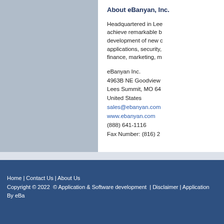About eBanyan, Inc.
Headquartered in Lees Summit, MO, eBanyan helps organizations achieve remarkable business results through the research and development of new custom software. Our expertise includes applications, security, analytics, enterprise software, work-flow, finance, marketing, m...
eBanyan Inc.
4963B NE Goodview Circle
Lees Summit, MO 64
United States
sales@ebanyan.com
www.ebanyan.com
(888) 641-1116
Fax Number: (816) 2...
Home | Contact Us | About Us
Copyright © 2022  © Application & Software development  | Disclaimer | Application By eBa...